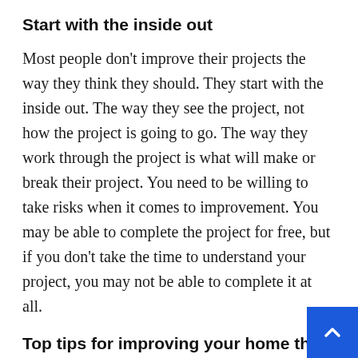Start with the inside out
Most people don't improve their projects the way they think they should. They start with the inside out. The way they see the project, not how the project is going to go. The way they work through the project is what will make or break their project. You need to be willing to take risks when it comes to improvement. You may be able to complete the project for free, but if you don't take the time to understand your project, you may not be able to complete it at all.
Top tips for improving your home this winter
It's winter and you're still trying to improve your home. You need to start by taking the time to improve your projects this winter. You should try to